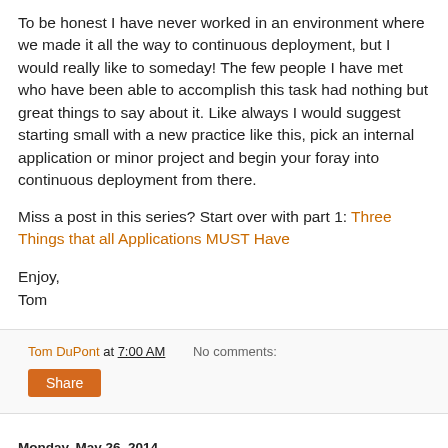To be honest I have never worked in an environment where we made it all the way to continuous deployment, but I would really like to someday! The few people I have met who have been able to accomplish this task had nothing but great things to say about it. Like always I would suggest starting small with a new practice like this, pick an internal application or minor project and begin your foray into continuous deployment from there.
Miss a post in this series? Start over with part 1: Three Things that all Applications MUST Have
Enjoy,
Tom
Tom DuPont at 7:00 AM   No comments:
Share
Monday, May 26, 2014
Three Things that all Applications